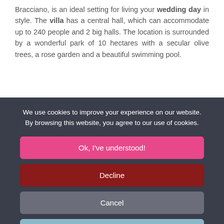Bracciano, is an ideal setting for living your wedding day in style. The villa has a central hall, which can accommodate up to 240 people and 2 big halls. The location is surrounded by a wonderful park of 10 hectares with a secular olive trees, a rose garden and a beautiful swimming pool.
We use cookies to improve your experience on our website. By browsing this website, you agree to our use of cookies.
Ok, I've understood!
Decline
Cancel
More Info